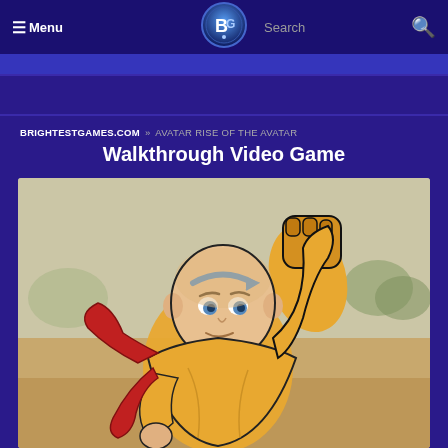≡ Menu  |  Search  🔍
BRIGHTESTGAMES.COM » AVATAR RISE OF THE AVATAR
Walkthrough Video Game
[Figure (illustration): Anime-style illustration of Aang from Avatar: The Last Airbender, wearing orange and red robes, with a blue arrow on his forehead, punching upward with his right fist. Background is a muted beige/green landscape with trees.]